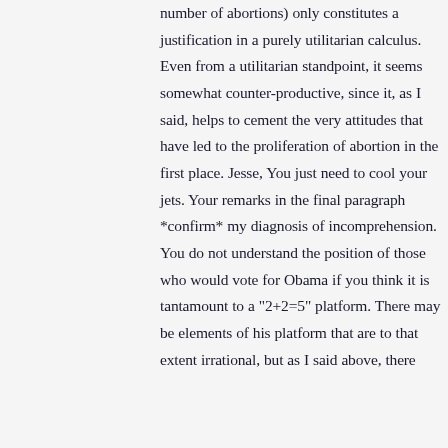number of abortions) only constitutes a justification in a purely utilitarian calculus. Even from a utilitarian standpoint, it seems somewhat counter-productive, since it, as I said, helps to cement the very attitudes that have led to the proliferation of abortion in the first place. Jesse, You just need to cool your jets. Your remarks in the final paragraph *confirm* my diagnosis of incomprehension. You do not understand the position of those who would vote for Obama if you think it is tantamount to a "2+2=5" platform. There may be elements of his platform that are to that extent irrational, but as I said above, there